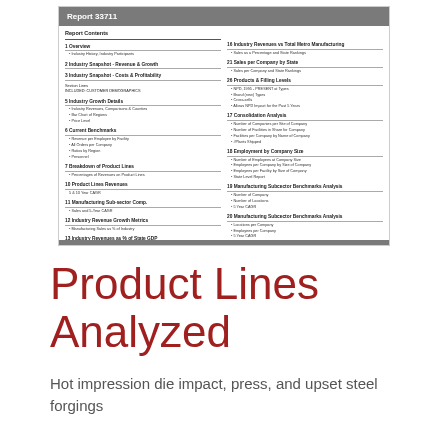[Figure (screenshot): Thumbnail image of Report 33711 showing Report Contents page with two columns of section listings covering industry analysis, company data, growth metrics, benchmarks, product lines, market share, employment, manufacturing, and other topics.]
Product Lines Analyzed
Hot impression die impact, press, and upset steel forgings